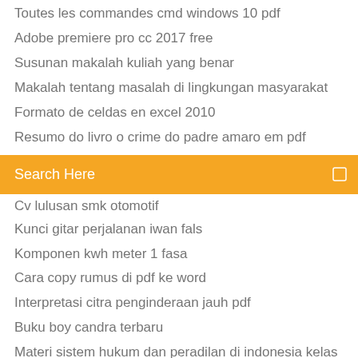Toutes les commandes cmd windows 10 pdf
Adobe premiere pro cc 2017 free
Susunan makalah kuliah yang benar
Makalah tentang masalah di lingkungan masyarakat
Formato de celdas en excel 2010
Resumo do livro o crime do padre amaro em pdf
Search Here
Cv lulusan smk otomotif
Kunci gitar perjalanan iwan fals
Komponen kwh meter 1 fasa
Cara copy rumus di pdf ke word
Interpretasi citra penginderaan jauh pdf
Buku boy candra terbaru
Materi sistem hukum dan peradilan di indonesia kelas 11 pdf
Caderno do aluno 2018 historia 6 ano volume 1
Cómo escribir y publicar un artículo científico pdf
Resumen de la metafisica